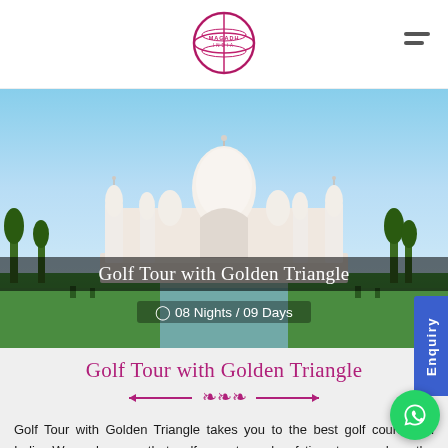[Figure (logo): Magadh India globe logo in purple/pink]
[Figure (photo): Photo of the Taj Mahal with blue sky and gardens]
Golf Tour with Golden Triangle
08 Nights / 09 Days
Golf Tour with Golden Triangle
Golf Tour with Golden Triangle takes you to the best golf courses in India. We make sure that golfers get ample of time to spend on the greens as well as the important monuments. Playing golf on the famous golf courses like Delhi Golf Club, the oldest golf club